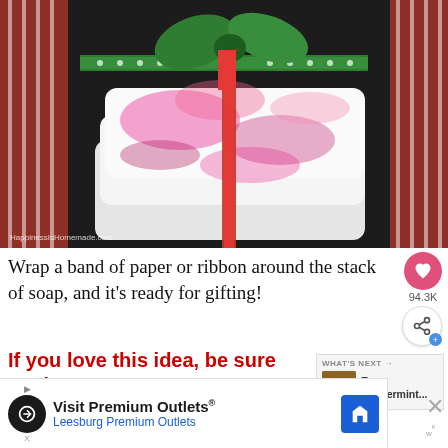[Figure (photo): Stack of pink and white swirled handmade soaps tied with red glitter ribbon and green polka-dot ribbon, arranged on a dark background with red and white striped fabric on the sides. Watermark: HappinessIsHomemade.com]
Wrap a band of paper or ribbon around the stack of soap, and it's ready for gifting!
If you love this idea, be sure to check out our other quick and easy bath & body products as well...
WHAT'S NEXT → Easy Peppermint...
Visit Premium Outlets® Leesburg Premium Outlets
94.3K